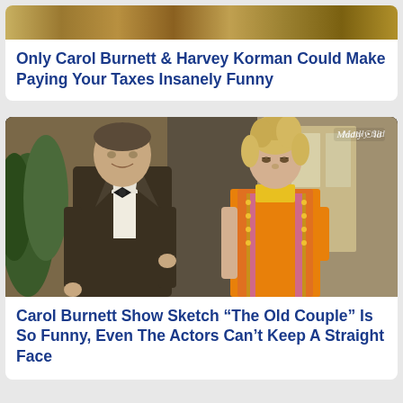[Figure (photo): Partial top image strip showing a vintage/nature scene, cropped at top of page]
Only Carol Burnett & Harvey Korman Could Make Paying Your Taxes Insanely Funny
[Figure (photo): TV screenshot from The Carol Burnett Show featuring a man in a tuxedo with bow tie and a woman with blonde updo hair wearing a colorful orange and pink outfit. Watermark reads 'Madly Old' in top right corner.]
Carol Burnett Show Sketch “The Old Couple” Is So Funny, Even The Actors Can’t Keep A Straight Face